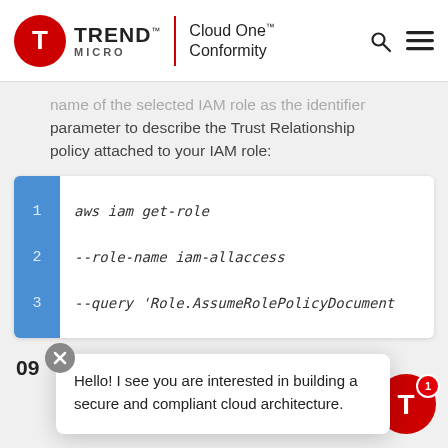TREND MICRO™ | Cloud One™ Conformity
name of the selected IAM role as the identifier parameter to describe the Trust Relationship policy attached to your IAM role:
[Figure (screenshot): Code block with line numbers 1-3. Line 1: aws iam get-role, Line 2: --role-name iam-allaccess, Line 3: --query 'Role.AssumeRolePolicyDocument]
09 The command output should show the Trust Relationship policy attached to the selected role:
Hello! I see you are interested in building a secure and compliant cloud architecture.